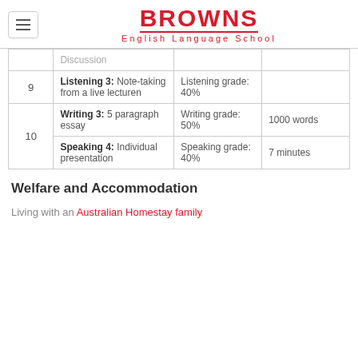BROWNS English Language School
|  | Task | Grade | Details |
| --- | --- | --- | --- |
|  | Discussion |  |  |
| 9 | Listening 3: Note-taking from a live lecturen | Listening grade: 40% |  |
| 10 | Writing 3: 5 paragraph essay | Writing grade: 50% | 1000 words |
| 10 | Speaking 4: Individual presentation | Speaking grade: 40% | 7 minutes |
Welfare and Accommodation
Living with an Australian Homestay family